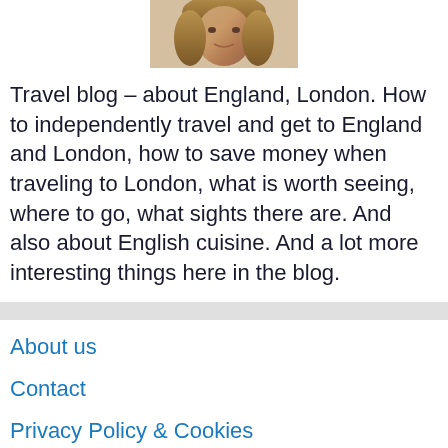[Figure (photo): Portrait photo of a woman with blonde hair, cropped to show face and upper head]
Travel blog – about England, London. How to independently travel and get to England and London, how to save money when traveling to London, what is worth seeing, where to go, what sights there are. And also about English cuisine. And a lot more interesting things here in the blog.
About us
Contact
Privacy Policy & Cookies
ATTENTION TO RIGHT HOLDERS! All materials are posted on the site strictly for